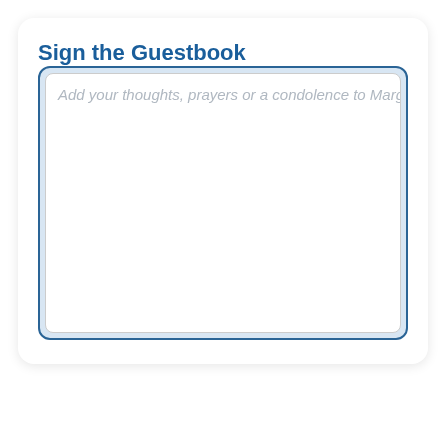Sign the Guestbook
Add your thoughts, prayers or a condolence to Margaret's guestbook